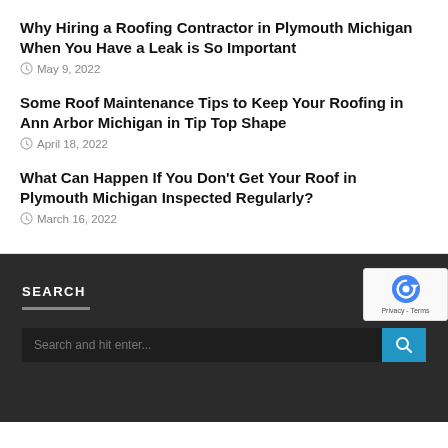Why Hiring a Roofing Contractor in Plymouth Michigan When You Have a Leak is So Important
May 9, 2022
Some Roof Maintenance Tips to Keep Your Roofing in Ann Arbor Michigan in Tip Top Shape
April 18, 2022
What Can Happen If You Don't Get Your Roof in Plymouth Michigan Inspected Regularly?
March 16, 2022
SEARCH
Search and hit enter...